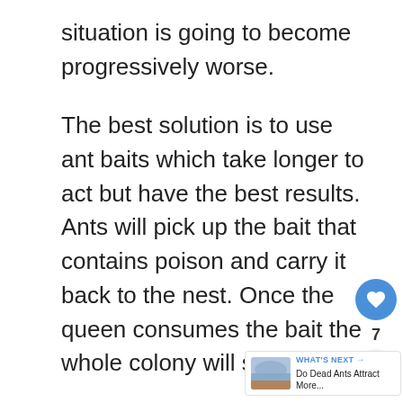situation is going to become progressively worse.
The best solution is to use ant baits which take longer to act but have the best results. Ants will pick up the bait that contains poison and carry it back to the nest. Once the queen consumes the bait the whole colony will slowly die.
One of the best baits that we recommend for indoor use is TERRO